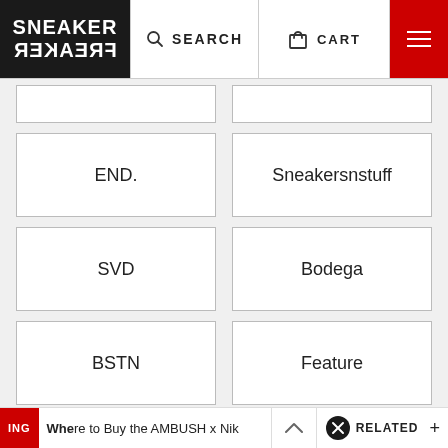SNEAKER FREAKER — SEARCH | CART | Menu
END.
Sneakersnstuff
SVD
Bodega
BSTN
Feature
View More
ING  Where to Buy the AMBUSH x Nik  RELATED